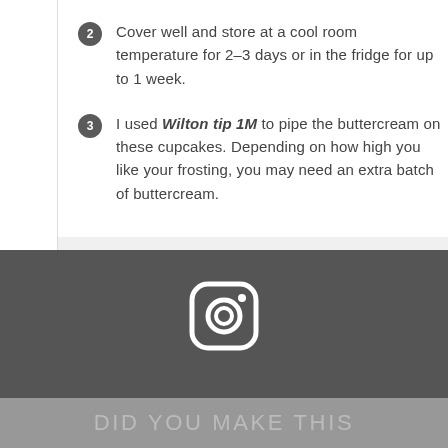Cover well and store at a cool room temperature for 2–3 days or in the fridge for up to 1 week.
I used Wilton tip 1M to pipe the buttercream on these cupcakes. Depending on how high you like your frosting, you may need an extra batch of buttercream.
Category: dessert, vegan, gluten free
[Figure (logo): Instagram logo icon (camera outline) in white on dark gray background]
DID YOU MAKE THIS